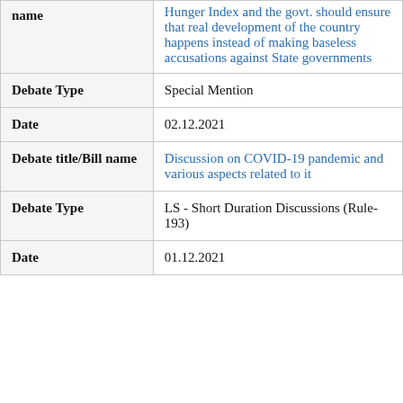| Field | Value |
| --- | --- |
| name | Hunger Index and the govt. should ensure that real development of the country happens instead of making baseless accusations against State governments |
| Debate Type | Special Mention |
| Date | 02.12.2021 |
| Debate title/Bill name | Discussion on COVID-19 pandemic and various aspects related to it |
| Debate Type | LS - Short Duration Discussions (Rule-193) |
| Date | 01.12.2021 |